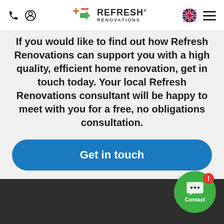Refresh Renovations — navigation header with phone, account, logo, UK flag, and menu icons
If you would like to find out how Refresh Renovations can support you with a high quality, efficient home renovation, get in touch today. Your local Refresh Renovations consultant will be happy to meet with you for a free, no obligations consultation.
[Figure (other): Blue rounded button with white bold text reading 'Get in touch']
[Figure (other): Green circular contact chat bubble with messaging icon, notification red dot with exclamation mark, and 'Contact' label in white text at the bottom right of the page]